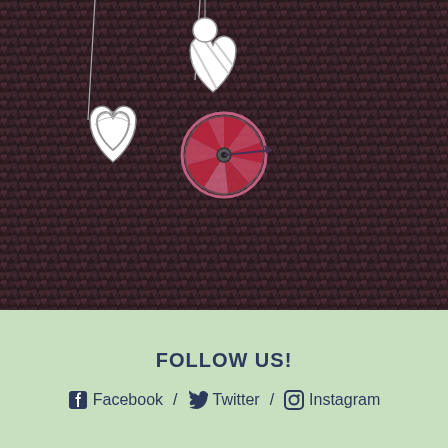[Figure (illustration): Dark brown background covered with a repeating pattern of small heart shapes in muted mauve/purple tones. In the upper left corner, decorative hanging heart ornaments in white with striped/hatched patterns are visible, suspended by strings. In the center-right area, a circular dial or wheel shape in pink/red tones with radiating sections is depicted, resembling a spinning wheel or fan.]
FOLLOW US!
Facebook / Twitter / Instagram